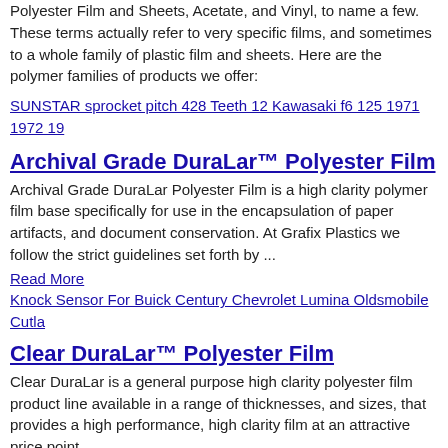Polyester Film and Sheets, Acetate, and Vinyl, to name a few. These terms actually refer to very specific films, and sometimes to a whole family of plastic film and sheets. Here are the polymer families of products we offer:
SUNSTAR sprocket pitch 428 Teeth 12 Kawasaki f6 125 1971 1972 19
Archival Grade DuraLar™ Polyester Film
Archival Grade DuraLar Polyester Film is a high clarity polymer film base specifically for use in the encapsulation of paper artifacts, and document conservation. At Grafix Plastics we follow the strict guidelines set forth by ...
Read More
Knock Sensor For Buick Century Chevrolet Lumina Oldsmobile Cutla
Clear DuraLar™ Polyester Film
Clear DuraLar is a general purpose high clarity polyester film product line available in a range of thicknesses, and sizes, that provides a high performance, high clarity film at an attractive price point.
Read More